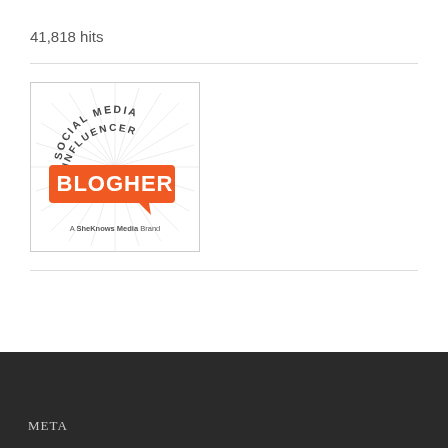41,818 hits
[Figure (logo): BlogHer Social Media Influencer badge. Circular badge with radiating lines background. Text 'SOCIAL MEDIA INFLUENCER' arched at top. Orange speech bubble rectangle with white bold text 'BLOGHER'. Text 'A SheKnows Media Brand' at bottom.]
META